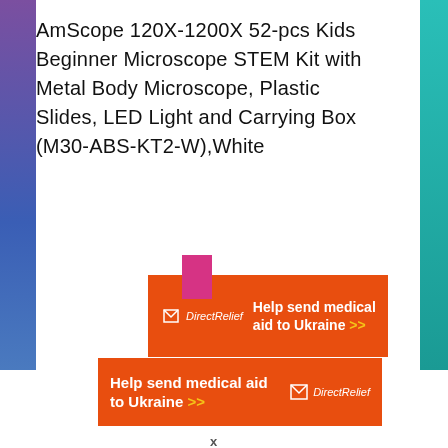AmScope 120X-1200X 52-pcs Kids Beginner Microscope STEM Kit with Metal Body Microscope, Plastic Slides, LED Light and Carrying Box (M30-ABS-KT2-W),White
[Figure (infographic): Direct Relief advertisement banner (top) with orange background, Direct Relief logo, and bold white text 'Help send medical aid to Ukraine' with yellow double arrow. Pink/magenta tab sticking up above banner.]
[Figure (infographic): Direct Relief advertisement banner (bottom) with orange background, bold white text 'Help send medical aid to Ukraine >>' on left, Direct Relief logo on right.]